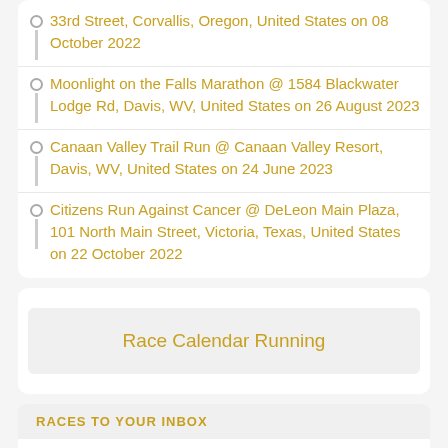33rd Street, Corvallis, Oregon, United States on 08 October 2022
Moonlight on the Falls Marathon @ 1584 Blackwater Lodge Rd, Davis, WV, United States on 26 August 2023
Canaan Valley Trail Run @ Canaan Valley Resort, Davis, WV, United States on 24 June 2023
Citizens Run Against Cancer @ DeLeon Main Plaza, 101 North Main Street, Victoria, Texas, United States on 22 October 2022
[Figure (other): Button labeled 'Race Calendar Running']
RACES TO YOUR INBOX
Subscribe now to receive regular notifications about new races in your region.